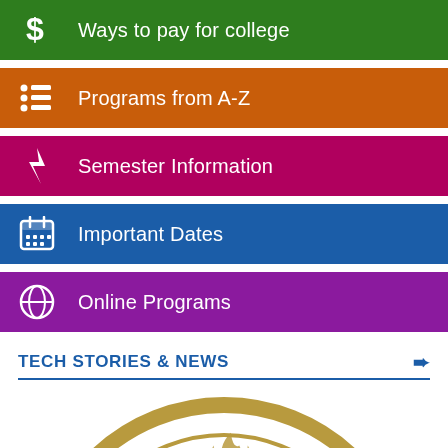Ways to pay for college
Programs from A-Z
Semester Information
Important Dates
Online Programs
TECH STORIES & NEWS
[Figure (logo): Georgetown college circular seal/logo in gold, partially visible at bottom of page]